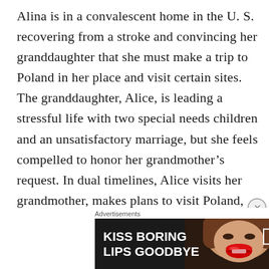Alina is in a convalescent home in the U. S. recovering from a stroke and convincing her granddaughter that she must make a trip to Poland in her place and visit certain sites. The granddaughter, Alice, is leading a stressful life with two special needs children and an unsatisfactory marriage, but she feels compelled to honor her grandmother’s request. In dual timelines, Alice visits her grandmother, makes plans to visit Poland, and actually makes the trip, while the WW11 timeline involving Alina
[Figure (other): Advertisement banner: 'KISS BORING LIPS GOODBYE' with a woman's face featuring red lips, and a 'SHOP NOW' button with Macy's star logo on dark background.]